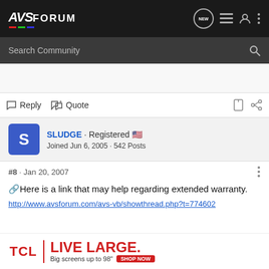AVSForum
Search Community
Reply  Quote
SLUDGE · Registered
Joined Jun 6, 2005 · 542 Posts
#8 · Jan 20, 2007
🔗Here is a link that may help regarding extended warranty.
http://www.avsforum.com/avs-vb/showthread.php?t=774602
[Figure (other): TCL LIVE LARGE advertisement banner. Big screens up to 98" SHOP NOW]